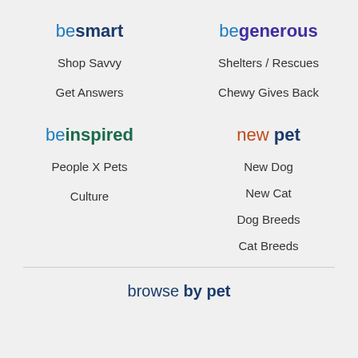besmart
Shop Savvy
Get Answers
begenerous
Shelters / Rescues
Chewy Gives Back
beinspired
People X Pets
Culture
new pet
New Dog
New Cat
Dog Breeds
Cat Breeds
browse by pet